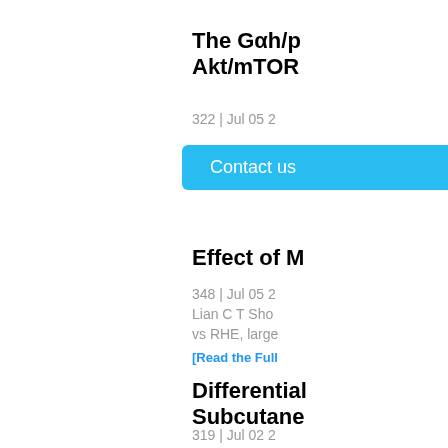The Gαh/ph Akt/mTOR…
322 | Jul 05 2…
Contact us
Effect of M…
348 | Jul 05 2…
Lian C T Shou…
vs RHE, large…
[Read the Full…
Differential… Subcutane…
319 | Jul 02 2…
Vanessa Tran…
to determine t…